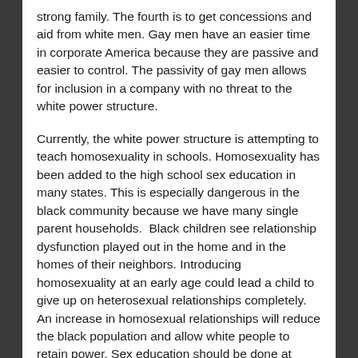strong family. The fourth is to get concessions and aid from white men. Gay men have an easier time in corporate America because they are passive and easier to control. The passivity of gay men allows for inclusion in a company with no threat to the white power structure.
Currently, the white power structure is attempting to teach homosexuality in schools. Homosexuality has been added to the high school sex education in many states. This is especially dangerous in the black community because we have many single parent households.  Black children see relationship dysfunction played out in the home and in the homes of their neighbors. Introducing homosexuality at an early age could lead a child to give up on heterosexual relationships completely. An increase in homosexual relationships will reduce the black population and allow white people to retain power. Sex education should be done at home by parents.